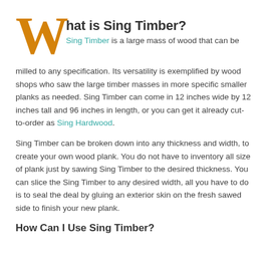What is Sing Timber?
Sing Timber is a large mass of wood that can be milled to any specification. Its versatility is exemplified by wood shops who saw the large timber masses in more specific smaller planks as needed. Sing Timber can come in 12 inches wide by 12 inches tall and 96 inches in length, or you can get it already cut-to-order as Sing Hardwood.
Sing Timber can be broken down into any thickness and width, to create your own wood plank. You do not have to inventory all size of plank just by sawing Sing Timber to the desired thickness. You can slice the Sing Timber to any desired width, all you have to do is to seal the deal by gluing an exterior skin on the fresh sawed side to finish your new plank.
How Can I Use Sing Timber?